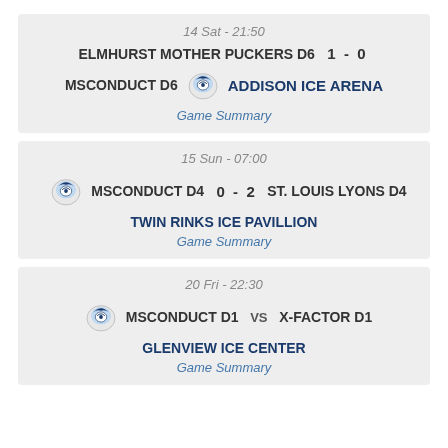14 Sat - 21:50
ELMHURST MOTHER PUCKERS D6  1  -  0  MSCONDUCT D6  ADDISON ICE ARENA
Game Summary
15 Sun - 07:00
MSCONDUCT D4  0  -  2  ST. LOUIS LYONS D4  TWIN RINKS ICE PAVILLION
Game Summary
20 Fri - 22:30
MSCONDUCT D1  VS  X-FACTOR D1  GLENVIEW ICE CENTER
Game Summary